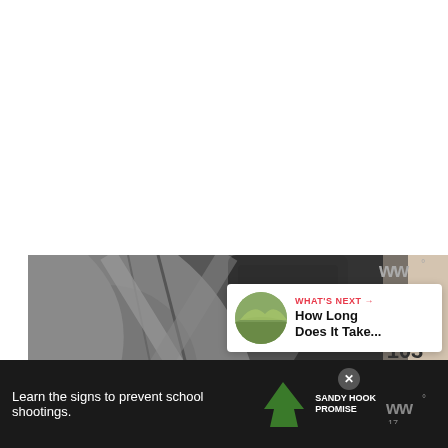[Figure (photo): Close-up photo of a person wearing grey athletic leggings on gym equipment, with orange accents and dark gym equipment visible in background. A light-colored cylindrical element appears on the right side.]
[Figure (logo): Woo app logo — stylized 'ww' in grey with degree symbol superscript]
[Figure (infographic): Red circular heart/like button with heart icon]
103
[Figure (infographic): Share button — circular white button with share icon]
WHAT'S NEXT → How Long Does It Take...
Learn the signs to prevent school shootings.
[Figure (logo): Sandy Hook Promise logo — green tree with text]